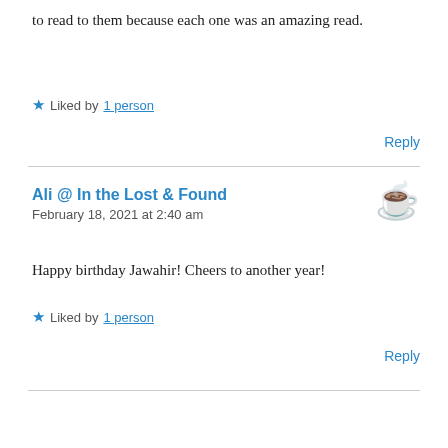to read to them because each one was an amazing read.
★ Liked by 1 person
Reply
Ali @ In the Lost & Found
February 18, 2021 at 2:40 am
Happy birthday Jawahir! Cheers to another year!
★ Liked by 1 person
Reply